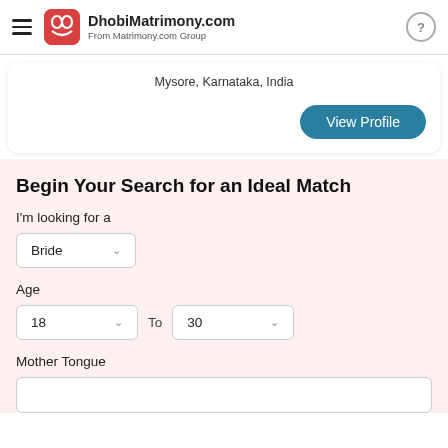DhobiMatrimony.com — From Matrimony.com Group
Mysore, Karnataka, India
View Profile
Begin Your Search for an Ideal Match
I'm looking for a
Bride
Age
18 To 30
Mother Tongue